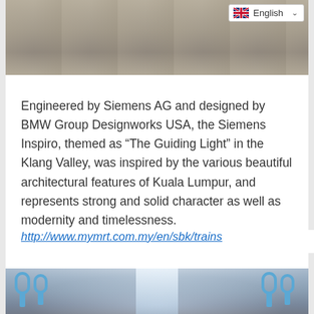[Figure (photo): Top portion of a train or rail infrastructure exterior photo, partially visible at top of page]
Engineered by Siemens AG and designed by BMW Group Designworks USA, the Siemens Inspiro, themed as “The Guiding Light” in the Klang Valley, was inspired by the various beautiful architectural features of Kuala Lumpur, and represents strong and solid character as well as modernity and timelessness.
http://www.mymrt.com.my/en/sbk/trains
[Figure (photo): Interior of an MRT train carriage showing blue hanging handles and bright overhead lighting]